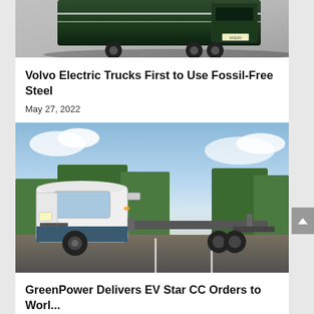[Figure (photo): Partial view of a dark green Volvo electric truck from above/rear angle on a gray background]
Volvo Electric Trucks First to Use Fossil-Free Steel
May 27, 2022
[Figure (photo): White GreenPower EV Star CC electric truck chassis parked in a parking lot with trees and cloudy sky in background]
GreenPower Delivers EV Star CC Orders to World...